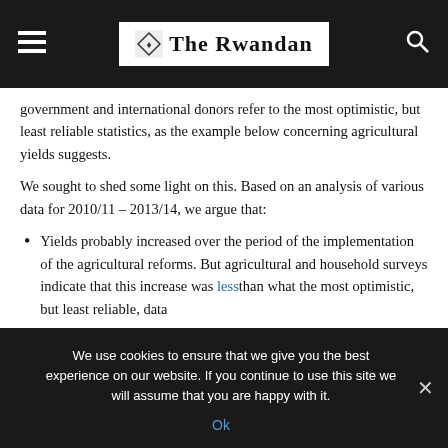The Rwandan
government and international donors refer to the most optimistic, but least reliable statistics, as the example below concerning agricultural yields suggests.
We sought to shed some light on this. Based on an analysis of various data for 2010/11 – 2013/14, we argue that:
Yields probably increased over the period of the implementation of the agricultural reforms. But agricultural and household surveys indicate that this increase was less than what the most optimistic, but least reliable, data
We use cookies to ensure that we give you the best experience on our website. If you continue to use this site we will assume that you are happy with it.
Ok